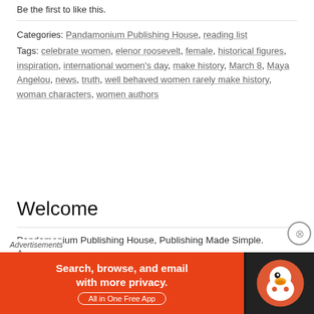Be the first to like this.
Categories: Pandamonium Publishing House, reading list
Tags: celebrate women, elenor roosevelt, female, historical figures, inspiration, international women's day, make history, March 8, Maya Angelou, news, truth, well behaved women rarely make history, woman characters, women authors
Welcome
Pandamonium Publishing House, Publishing Made Simple.
A...
Advertisements
[Figure (infographic): DuckDuckGo advertisement banner: orange background on left with text 'Search, browse, and email with more privacy. All in One Free App'; dark right panel with DuckDuckGo duck logo]